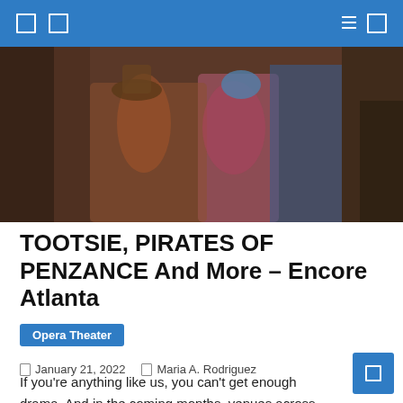Navigation header bar with icons
[Figure (photo): Theater performers in colorful costumes including a man in a striped shirt and blue beanie and another in a striped blazer with a tall hat, part of a group on stage.]
TOOTSIE, PIRATES OF PENZANCE And More – Encore Atlanta
Opera Theater
January 21, 2022   Maria A. Rodriguez
If you're anything like us, you can't get enough drama. And in the coming months, venues across Atlanta will offer more than enough performances for local enthusiasts. Check out some of our top picks from our partner sites below!